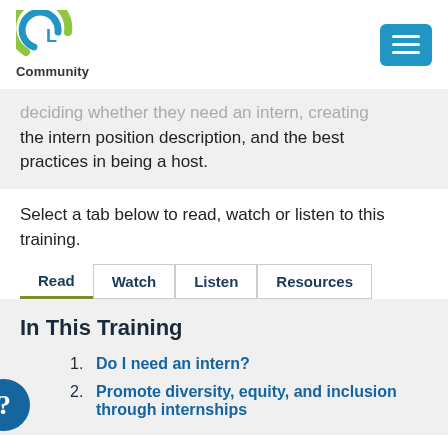Community
deciding whether they need an intern, creating the intern position description, and the best practices in being a host.
Select a tab below to read, watch or listen to this training.
In This Training
Do I need an intern?
Promote diversity, equity, and inclusion through internships